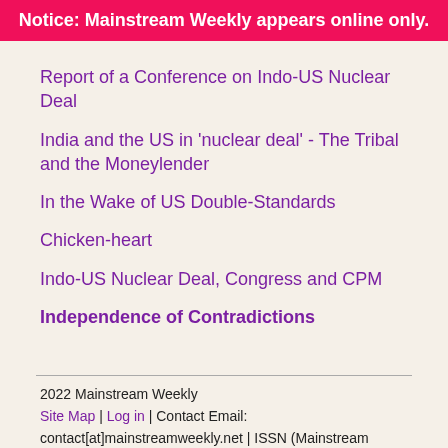Notice: Mainstream Weekly appears online only.
Report of a Conference on Indo-US Nuclear Deal
India and the US in 'nuclear deal' - The Tribal and the Moneylender
In the Wake of US Double-Standards
Chicken-heart
Indo-US Nuclear Deal, Congress and CPM
Independence of Contradictions
2022 Mainstream Weekly
Site Map | Log in | Contact Email: contact[at]mainstreamweekly.net | ISSN (Mainstream Online): 2582-7316 | RSS 2.0